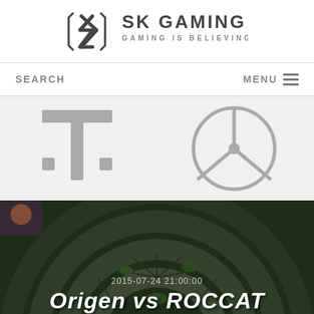[Figure (logo): SK Gaming logo with text 'SK GAMING - GAMING IS BELIEVING']
SEARCH    MENU
[Figure (logo): Sponsor logos: Deutsche Telekom T-logo and Mercedes-Benz star logo, greyed out]
[Figure (screenshot): League of Legends game screenshot showing stone tiles arena background]
2015-07-24 21:00:00
Origen vs ROCCAT